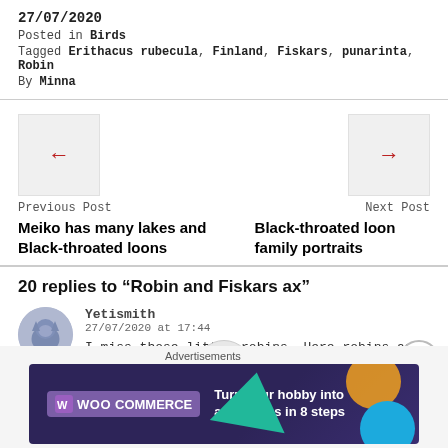27/07/2020
Posted in Birds
Tagged Erithacus rubecula, Finland, Fiskars, punarinta, Robin
By Minna
Previous Post
Meiko has many lakes and Black-throated loons
Next Post
Black-throated loon family portraits
20 replies to "Robin and Fiskars ax"
Yetismith
27/07/2020 at 17:44
I miss those little robins. Here robins are big birds. Still, I love them all. Fiskars is good too!
Advertisements
[Figure (other): WooCommerce advertisement banner: Turn your hobby into a business in 8 steps]